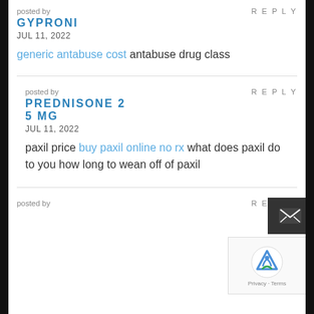posted by
REPLY
GYPRONI
JUL 11, 2022
generic antabuse cost antabuse drug class
posted by
REPLY
PREDNISONE 25 MG
JUL 11, 2022
paxil price buy paxil online no rx what does paxil do to you how long to wean off of paxil
posted by
REPLY